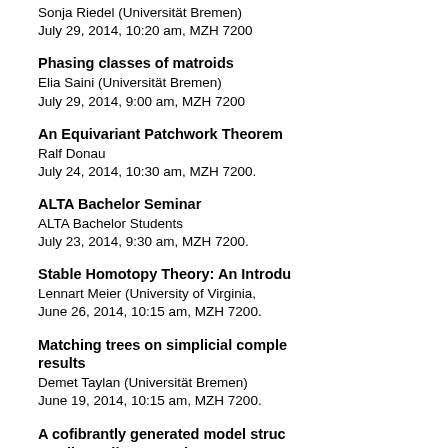Sonja Riedel (Universität Bremen)
July 29, 2014, 10:20 am, MZH 7200
Phasing classes of matroids
Elia Saini (Universität Bremen)
July 29, 2014, 9:00 am, MZH 7200
An Equivariant Patchwork Theorem
Ralf Donau
July 24, 2014, 10:30 am, MZH 7200.
ALTA Bachelor Seminar
ALTA Bachelor Students
July 23, 2014, 9:30 am, MZH 7200.
Stable Homotopy Theory: An Introdu
Lennart Meier (University of Virginia,
June 26, 2014, 10:15 am, MZH 7200.
Matching trees on simplicial comple results
Demet Taylan (Universität Bremen)
June 19, 2014, 10:15 am, MZH 7200.
A cofibrantly generated model struc small acyclic categories